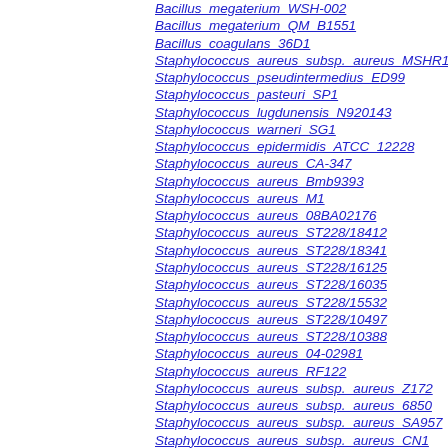Bacillus_megaterium_WSH-002
Bacillus_megaterium_QM_B1551
Bacillus_coagulans_36D1
Staphylococcus_aureus_subsp._aureus_MSHR11
Staphylococcus_pseudintermedius_ED99
Staphylococcus_pasteuri_SP1
Staphylococcus_lugdunensis_N920143
Staphylococcus_warneri_SG1
Staphylococcus_epidermidis_ATCC_12228
Staphylococcus_aureus_CA-347
Staphylococcus_aureus_Bmb9393
Staphylococcus_aureus_M1
Staphylococcus_aureus_08BA02176
Staphylococcus_aureus_ST228/18412
Staphylococcus_aureus_ST228/18341
Staphylococcus_aureus_ST228/16125
Staphylococcus_aureus_ST228/16035
Staphylococcus_aureus_ST228/15532
Staphylococcus_aureus_ST228/10497
Staphylococcus_aureus_ST228/10388
Staphylococcus_aureus_04-02981
Staphylococcus_aureus_RF122
Staphylococcus_aureus_subsp._aureus_Z172
Staphylococcus_aureus_subsp._aureus_6850
Staphylococcus_aureus_subsp._aureus_SA957
Staphylococcus_aureus_subsp._aureus_CN1
Staphylococcus_aureus_subsp._aureus_SA40
Staphylococcus_aureus_subsp._aureus_11819-97
Staphylococcus_aureus_subsp._aureus_M013
Staphylococcus_aureus_subsp._aureus_HO_5096